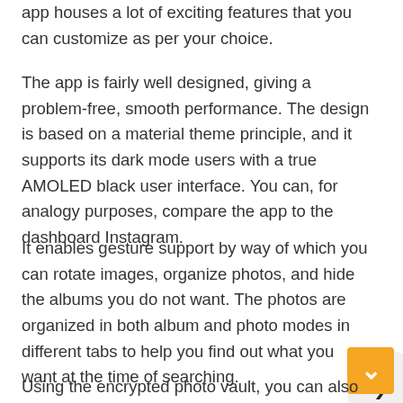app houses a lot of exciting features that you can customize as per your choice.
The app is fairly well designed, giving a problem-free, smooth performance. The design is based on a material theme principle, and it supports its dark mode users with a true AMOLED black user interface. You can, for analogy purposes, compare the app to the dashboard Instagram.
It enables gesture support by way of which you can rotate images, organize photos, and hide the albums you do not want. The photos are organized in both album and photo modes in different tabs to help you find out what you want at the time of searching.
Using the encrypted photo vault, you can also hide your photos and albums from prying eyes. You can install